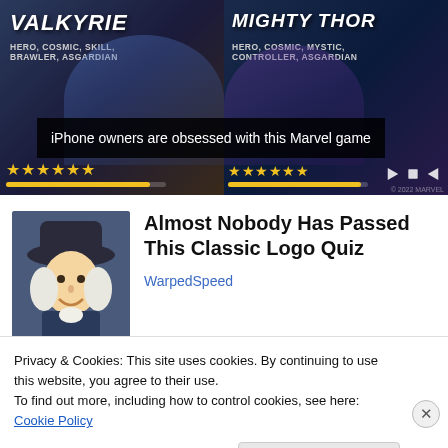[Figure (screenshot): Marvel game advertisement banner showing Valkyrie and Mighty Thor characters with star ratings. Left side shows VALKYRIE with tags HERO, COSMIC, SKILL, BRAWLER, ASGARDIAN and 6 gold stars. Right side shows MIGHTY THOR with tags HERO, COSMIC, MYSTIC, CONTROLLER, ASGARDIAN and 6 gold stars with media control icons.]
iPhone owners are obsessed with this Marvel game
[Figure (illustration): Thumbnail image of a man in a colonial-era tricorn hat with white curly wig, resembling the Quaker Oats mascot, smiling.]
Almost Nobody Has Passed This Classic Logo Quiz
WarpedSpeed
Privacy & Cookies: This site uses cookies. By continuing to use this website, you agree to their use.
To find out more, including how to control cookies, see here: Cookie Policy
Close and accept